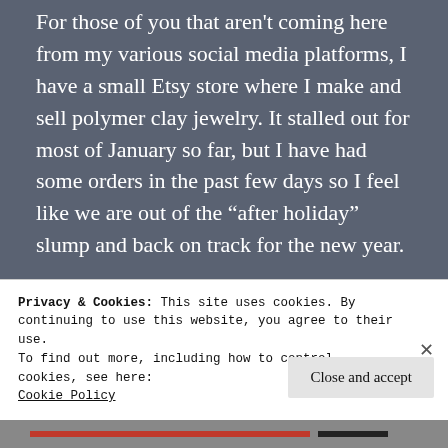For those of you that aren't coming here from my various social media platforms, I have a small Etsy store where I make and sell polymer clay jewelry. It stalled out for most of January so far, but I have had some orders in the past few days so I feel like we are out of the "after holiday" slump and back on track for the new year.
Other than that I am happy, healthy, and thankful and I encourage you off and f…
Privacy & Cookies: This site uses cookies. By continuing to use this website, you agree to their use.
To find out more, including how to control cookies, see here: Cookie Policy
Close and accept